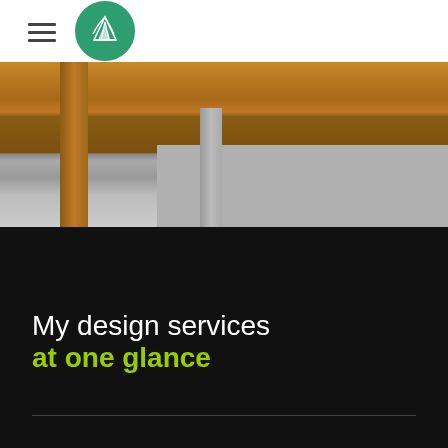[Figure (photo): Close-up photo of a wooden table top and leg, with gray background/wall visible on the right side]
My design services at one glance